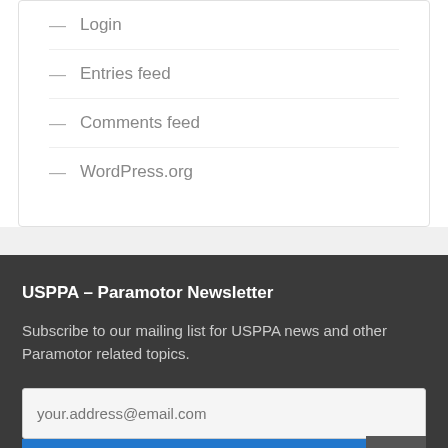Login
Entries feed
Comments feed
WordPress.org
USPPA – Paramotor Newsletter
Subscribe to our mailing list for USPPA news and other Paramotor related topics.
your.address@email.com
Subscribe